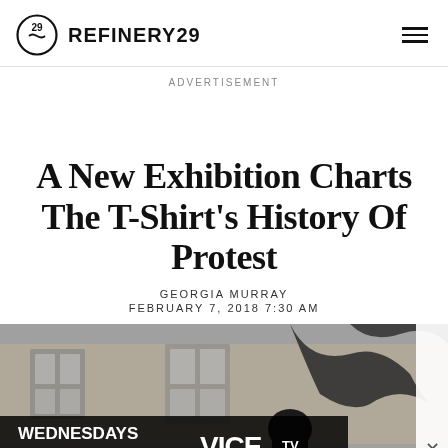REFINERY29
ADVERTISEMENT
A New Exhibition Charts The T-Shirt's History Of Protest
GEORGIA MURRAY
FEBRUARY 7, 2018 7:30 AM
[Figure (photo): Photo of a person outdoors near a stone building with trees, with an advertisement overlay for VICE TV showing WEDNESDAYS 9:00P]